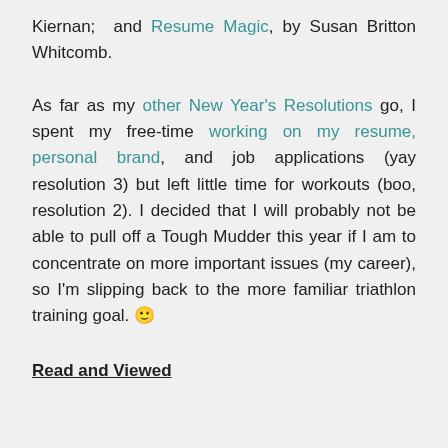Kiernan; and Resume Magic, by Susan Britton Whitcomb.
As far as my other New Year's Resolutions go, I spent my free-time working on my resume, personal brand, and job applications (yay resolution 3) but left little time for workouts (boo, resolution 2). I decided that I will probably not be able to pull off a Tough Mudder this year if I am to concentrate on more important issues (my career), so I'm slipping back to the more familiar triathlon training goal. 🙂
Read and Viewed